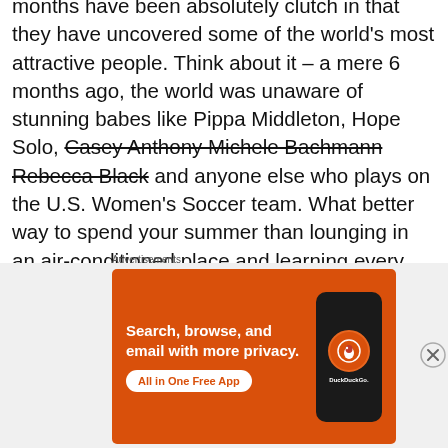months have been absolutely clutch in that they have uncovered some of the world's most attractive people. Think about it – a mere 6 months ago, the world was unaware of stunning babes like Pippa Middleton, Hope Solo, Casey Anthony Michele Bachmann Rebecca Black and anyone else who plays on the U.S. Women's Soccer team. What better way to spend your summer than lounging in an air-conditioned place and learning every minute detail about the lives of these slampieces? For example, I have learned this summer that Pippa Middleton has admitted to being attracted to average-looking half-Jewish left-handed kids from Colorado – a category in
Advertisements
[Figure (other): DuckDuckGo advertisement banner with orange background showing 'Search, browse, and email with more privacy. All in One Free App' text and a phone image with DuckDuckGo logo.]